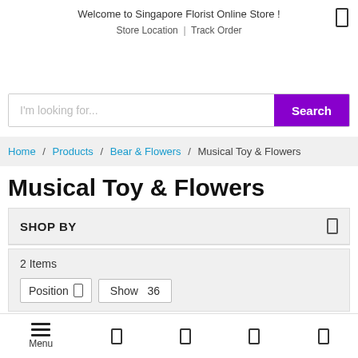Welcome to Singapore Florist Online Store !
Store Location | Track Order
[Figure (screenshot): Search input bar with placeholder 'I'm looking for...' and purple Search button]
Home / Products / Bear & Flowers / Musical Toy & Flowers
Musical Toy & Flowers
SHOP BY
2 Items
Position  [dropdown]   Show  36
Menu